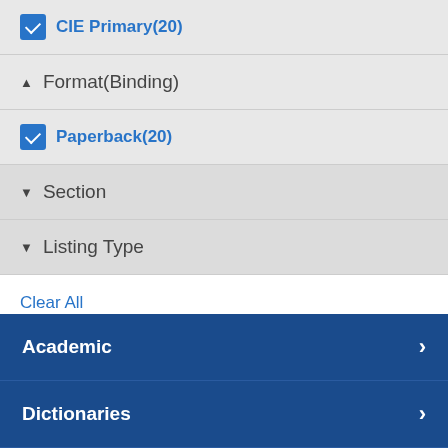CIE Primary(20)
Format(Binding)
Paperback(20)
Section
Listing Type
Clear All
Share:
Academic
Dictionaries